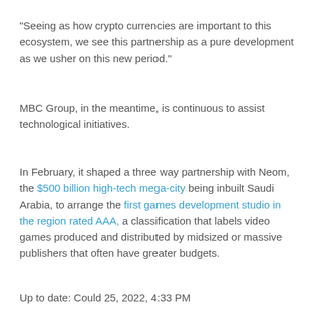“Seeing as how crypto currencies are important to this ecosystem, we see this partnership as a pure development as we usher on this new period.”
MBC Group, in the meantime, is continuous to assist technological initiatives.
In February, it shaped a three way partnership with Neom, the $500 billion high-tech mega-city being inbuilt Saudi Arabia, to arrange the first games development studio in the region rated AAA, a classification that labels video games produced and distributed by midsized or massive publishers that often have greater budgets.
Up to date: Could 25, 2022, 4:33 PM